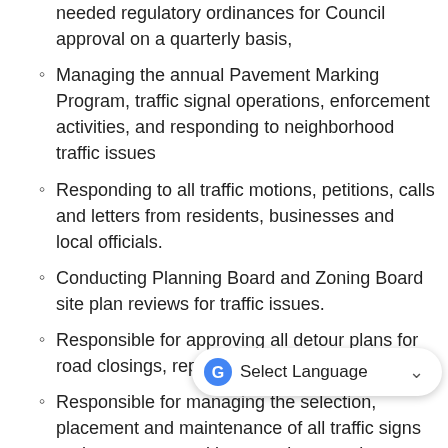needed regulatory ordinances for Council approval on a quarterly basis,
Managing the annual Pavement Marking Program, traffic signal operations, enforcement activities, and responding to neighborhood traffic issues
Responding to all traffic motions, petitions, calls and letters from residents, businesses and local officials.
Conducting Planning Board and Zoning Board site plan reviews for traffic issues.
Responsible for approving all detour plans for road closings, repair projects and bridges.
Responsible for managing the selection, placement and maintenance of all traffic signs and pavement markings on city owned streets in the City of Lowell, with the ex... limit and truck exclusion signs which are managed by the state.